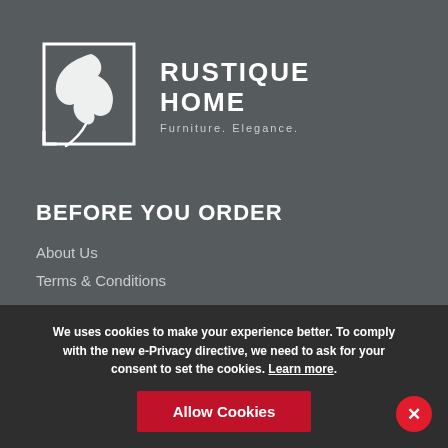[Figure (logo): Rustique Home logo with oak leaf and square frame, text RUSTIQUE HOME, Furniture. Elegance.]
BEFORE YOU ORDER
About Us
Terms & Conditions
AFTER YOU ORDER
Contact Us
QUICK LINKS
Privacy Policy
We uses cookies to make your experience better. To comply with the new e-Privacy directive, we need to ask for your consent to set the cookies. Learn more.
Allow Cookies